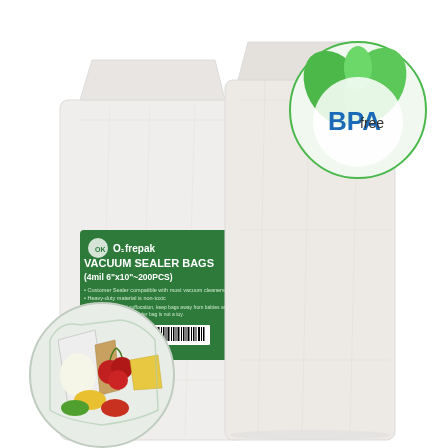[Figure (photo): Product photo of O2frepak Vacuum Sealer Bags (4mil 6x10 inches, 200PCS). Two white vacuum sealer bags are shown standing upright side by side, each with a green label reading 'O2frepak VACUUM SEALER BAGS (4mil 6"x10"~200PCS)'. A BPA Free logo with green leaves is displayed in the upper right corner. In the lower left corner, a circular inset photo shows various foods (grains, cherries, cheese, vegetables) stored in vacuum seal bags.]